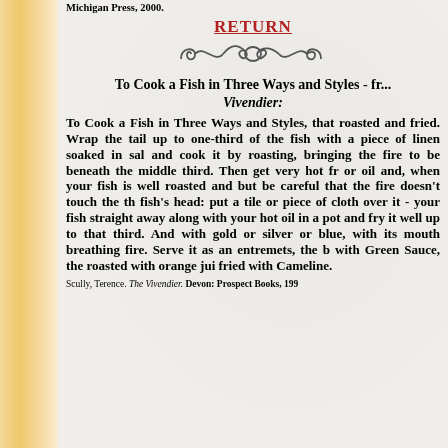Michigan Press, 2000.
RETURN
[Figure (illustration): Decorative ornamental divider with scrollwork and flourishes]
To Cook a Fish in Three Ways and Styles - fr... Vivendier:
To Cook a Fish in Three Ways and Styles, that ... roasted and fried. Wrap the tail up to one-third ... of the fish with a piece of linen soaked in sal... and cook it by roasting, bringing the fire to be... beneath the middle third. Then get very hot fr... or oil and, when your fish is well roasted and... but be careful that the fire doesn't touch the th... fish's head: put a tile or piece of cloth over it -... your fish straight away along with your hot oil... in a pot and fry it well up to that third. And... with gold or silver or blue, with its mouth... breathing fire. Serve it as an entremets, the b... with Green Sauce, the roasted with orange jui... fried with Cameline.
Scully, Terence. The Vivendier. Devon: Prospect Books, 199...